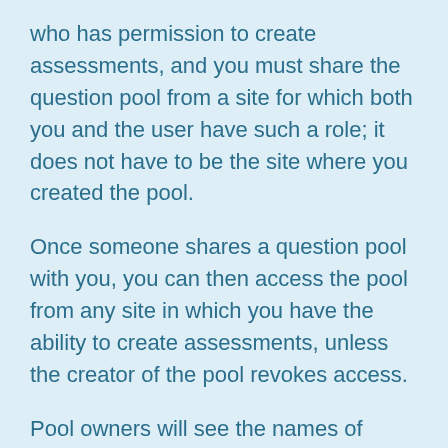who has permission to create assessments, and you must share the question pool from a site for which both you and the user have such a role; it does not have to be the site where you created the pool.
Once someone shares a question pool with you, you can then access the pool from any site in which you have the ability to create assessments, unless the creator of the pool revokes access.
Pool owners will see the names of everyone with whom they've shared the pool on the Share Pool screen in all of their own sites. If someone with whom a pool has been shared is not a member of the site the pool owner is viewing, that person will be listed under "Site Members with Access" with the role of "anonymous_access."